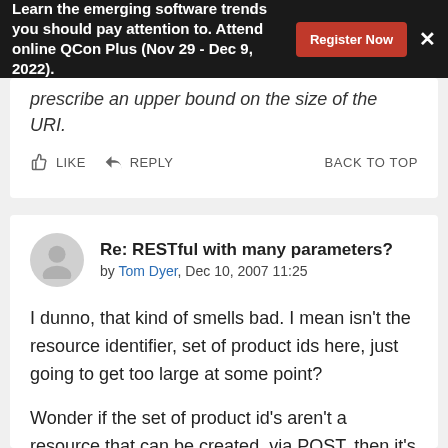Learn the emerging software trends you should pay attention to. Attend online QCon Plus (Nov 29 - Dec 9, 2022). Register Now ×
prescribe an upper bound on the size of the URI.
LIKE  REPLY  BACK TO TOP
Re: RESTful with many parameters?
by Tom Dyer, Dec 10, 2007 11:25
I dunno, that kind of smells bad. I mean isn't the resource identifier, set of product ids here, just going to get too large at some point?
Wonder if the set of product id's aren't a resource that can be created, via POST, then it's identifier/URI can be used to GET the collection of dependent products.